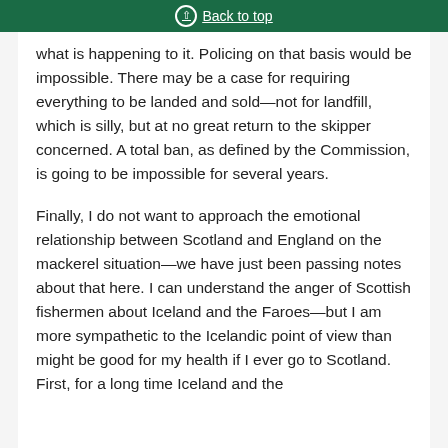Back to top
what is happening to it. Policing on that basis would be impossible. There may be a case for requiring everything to be landed and sold—not for landfill, which is silly, but at no great return to the skipper concerned. A total ban, as defined by the Commission, is going to be impossible for several years.
Finally, I do not want to approach the emotional relationship between Scotland and England on the mackerel situation—we have just been passing notes about that here. I can understand the anger of Scottish fishermen about Iceland and the Faroes—but I am more sympathetic to the Icelandic point of view than might be good for my health if I ever go to Scotland. First, for a long time Iceland and the